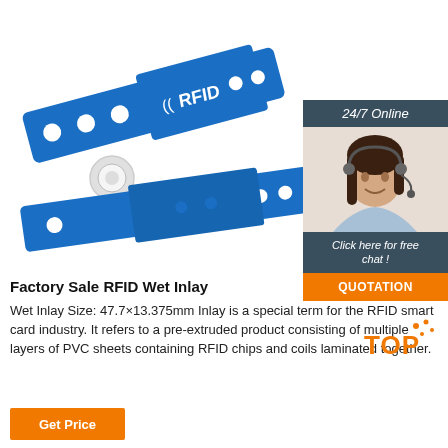[Figure (photo): Blue RFID wristband with white snap button and RFID label, product photo on white background]
[Figure (photo): 24/7 Online chat widget with female customer service agent wearing headset, with 'Click here for free chat!' text, QUOTATION orange button]
Factory Sale RFID Wet Inlay
Wet Inlay Size: 47.7×13.375mm Inlay is a special term for the RFID smart card industry. It refers to a pre-extruded product consisting of multiple layers of PVC sheets containing RFID chips and coils laminated together.
[Figure (logo): TOP logo with orange dots]
[Figure (other): Orange Get Price button (partially visible at bottom)]